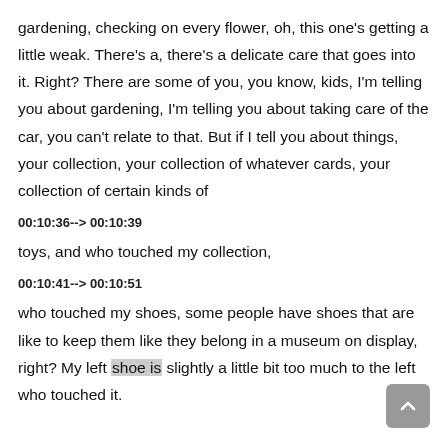gardening, checking on every flower, oh, this one's getting a little weak. There's a, there's a delicate care that goes into it. Right? There are some of you, you know, kids, I'm telling you about gardening, I'm telling you about taking care of the car, you can't relate to that. But if I tell you about things, your collection, your collection of whatever cards, your collection of certain kinds of
00:10:36--> 00:10:39
toys, and who touched my collection,
00:10:41--> 00:10:51
who touched my shoes, some people have shoes that are like to keep them like they belong in a museum on display, right? My left shoe is slightly a little bit too much to the left who touched it.